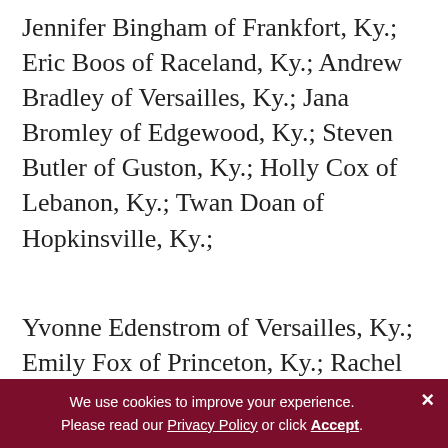Jennifer Bingham of Frankfort, Ky.; Eric Boos of Raceland, Ky.; Andrew Bradley of Versailles, Ky.; Jana Bromley of Edgewood, Ky.; Steven Butler of Guston, Ky.; Holly Cox of Lebanon, Ky.; Twan Doan of Hopkinsville, Ky.;
Yvonne Edenstrom of Versailles, Ky.; Emily Fox of Princeton, Ky.; Rachel Gatson of Phoenix, Ariz.; Kevin Johnson of Campbellsville, Ky.; Ashton Jones of Salvisa, Ky.; Jennifer Kemp of Bowling Green, Ky.; Christopher Lowe of Greensburg, Ky.;
Amanda Nugent of Versa[illes, Ky.;] Monticello, Ky.; Leslye Ri[ce of ...]; Rowe of Lexington, Ky.; JaLynn Rowland of Princeton,
[Figure (other): Dark red 'Chat with us' button overlay with speech bubble icon, and a small 'x' close button to its top-right]
We use cookies to improve your experience. Please read our Privacy Policy or click Accept.